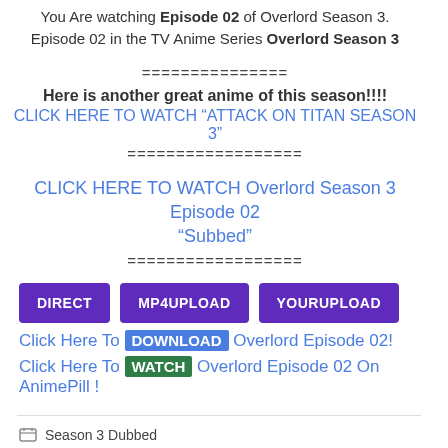You Are watching Episode 02 of Overlord Season 3. Episode 02 in the TV Anime Series Overlord Season 3
===============
Here is another great anime of this season!!!!
CLICK HERE TO WATCH "ATTACK ON TITAN SEASON 3"
==================
CLICK HERE TO WATCH Overlord Season 3 Episode 02 "Subbed"
==================
DIRECT  MP4UPLOAD  YOURUPLOAD
Click Here To DOWNLOAD Overlord Episode 02!
Click Here To WATCH Overlord Episode 02 On AnimePill !
Season 3 Dubbed
Leave a comment